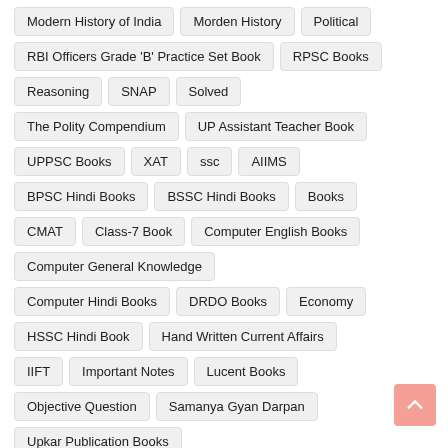Modern History of India
Morden History
Political
RBI Officers Grade 'B' Practice Set Book
RPSC Books
Reasoning
SNAP
Solved
The Polity Compendium
UP Assistant Teacher Book
UPPSC Books
XAT
ssc
AIIMS
BPSC Hindi Books
BSSC Hindi Books
Books
CMAT
Class-7 Book
Computer English Books
Computer General Knowledge
Computer Hindi Books
DRDO Books
Economy
HSSC Hindi Book
Hand Written Current Affairs
IIFT
Important Notes
Lucent Books
Objective Question
Samanya Gyan Darpan
Upkar Publication Books
Uttar Pradesh Competitive Exams Book